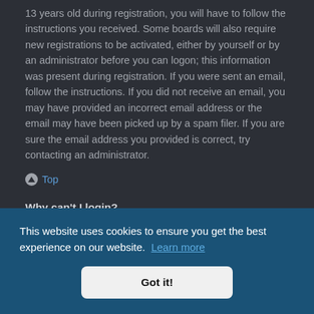13 years old during registration, you will have to follow the instructions you received. Some boards will also require new registrations to be activated, either by yourself or by an administrator before you can logon; this information was present during registration. If you were sent an email, follow the instructions. If you did not receive an email, you may have provided an incorrect email address or the email may have been picked up by a spam filer. If you are sure the email address you provided is correct, try contacting an administrator.
⬆ Top
Why can't I login?
There are several reasons why this could occur. First
[Figure (screenshot): Cookie consent banner overlay with blue background. Text reads 'This website uses cookies to ensure you get the best experience on our website. Learn more' and a 'Got it!' button.]